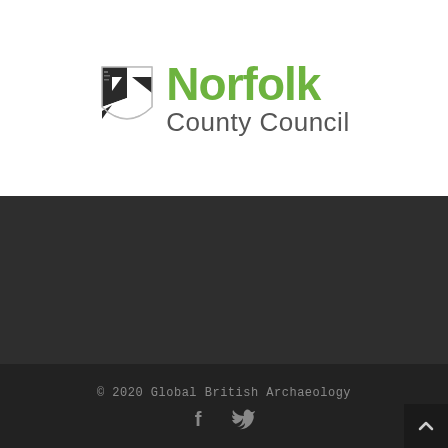[Figure (logo): Norfolk County Council logo with shield emblem on the left and green bold 'Norfolk' text with grey 'County Council' text on the right]
© 2020 Global British Archaeology